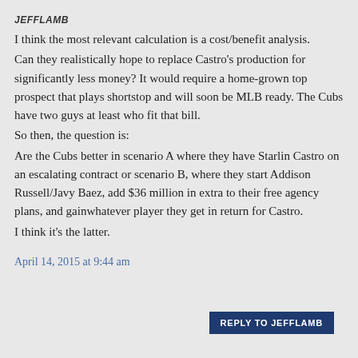JEFFLAMB
I think the most relevant calculation is a cost/benefit analysis.
Can they realistically hope to replace Castro's production for significantly less money? It would require a home-grown top prospect that plays shortstop and will soon be MLB ready. The Cubs have two guys at least who fit that bill.
So then, the question is:
Are the Cubs better in scenario A where they have Starlin Castro on an escalating contract or scenario B, where they start Addison Russell/Javy Baez, add $36 million in extra to their free agency plans, and gainwhatever player they get in return for Castro.
I think it's the latter.
April 14, 2015 at 9:44 am
REPLY TO JEFFLAMB